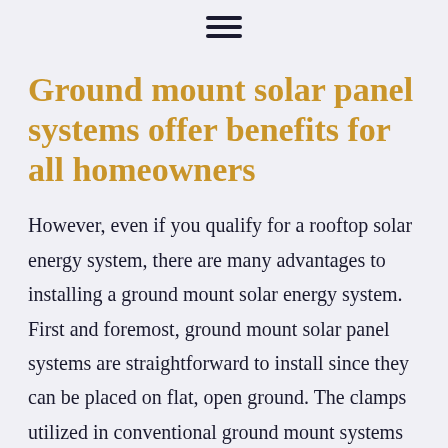[Figure (other): Hamburger menu icon (three horizontal lines)]
Ground mount solar panel systems offer benefits for all homeowners
However, even if you qualify for a rooftop solar energy system, there are many advantages to installing a ground mount solar energy system. First and foremost, ground mount solar panel systems are straightforward to install since they can be placed on flat, open ground. The clamps utilized in conventional ground mount systems are lightweight and simple to remove, and they do not need drilling into your roof